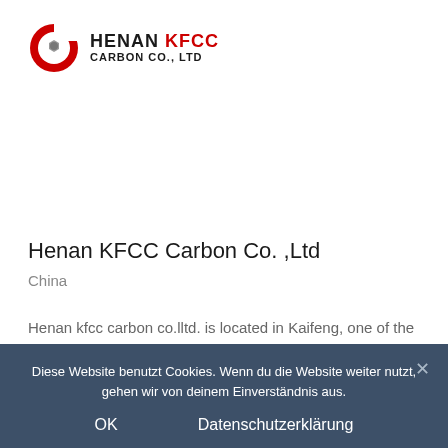[Figure (logo): Henan KFCC Carbon Co., Ltd logo with red circular emblem and company name in black and red text]
Henan KFCC Carbon Co. ,Ltd
China
Henan kfcc carbon co.lltd. is located in Kaifeng, one of the seven ancient capitals of China and ne of the famous historical and cultural cities of China. Founded in June 2001 by shareholders headed by China Pingmei What Group. it is ...
Diese Website benutzt Cookies. Wenn du die Website weiter nutzt, gehen wir von deinem Einverständnis aus.
OK
Datenschutzerklärung